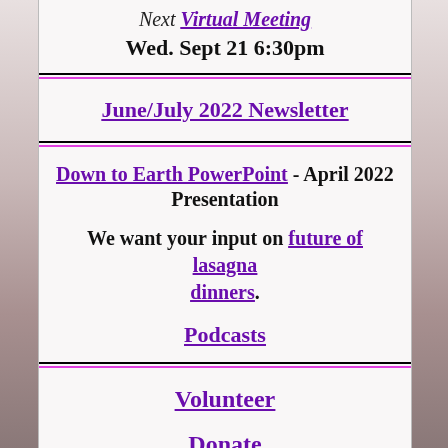Next Virtual Meeting Wed. Sept 21 6:30pm
June/July 2022 Newsletter
Down to Earth PowerPoint - April 2022 Presentation
We want your input on future of lasagna dinners.
Podcasts
Volunteer
Donate